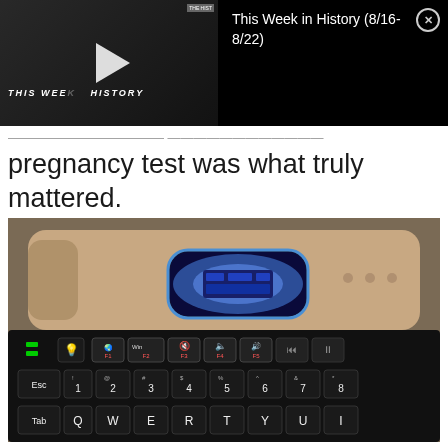[Figure (screenshot): Video overlay thumbnail showing 'THIS WEEK IN HISTORY' with a play button, and black panel to the right with text 'This Week in History (8/16- 8/22)' and a close (X) button]
pregnancy test was what truly mattered.
[Figure (photo): Photo of a digital pregnancy test placed on top of a black keyboard. The test's display window is lit up with a blue/white glow. The keyboard shows keys: F1-F5 row with icons (Win, volume, etc.), number row (Esc, 1-8), and QWERTY row (Tab, Q, W, E, R, T, Y, U).]